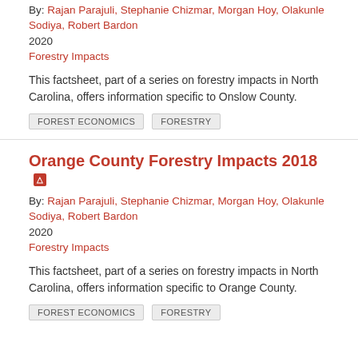By: Rajan Parajuli, Stephanie Chizmar, Morgan Hoy, Olakunle Sodiya, Robert Bardon
2020
Forestry Impacts
This factsheet, part of a series on forestry impacts in North Carolina, offers information specific to Onslow County.
FOREST ECONOMICS
FORESTRY
Orange County Forestry Impacts 2018
By: Rajan Parajuli, Stephanie Chizmar, Morgan Hoy, Olakunle Sodiya, Robert Bardon
2020
Forestry Impacts
This factsheet, part of a series on forestry impacts in North Carolina, offers information specific to Orange County.
FOREST ECONOMICS
FORESTRY